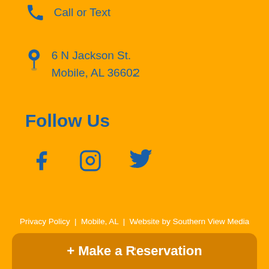Call or Text
6 N Jackson St.
Mobile, AL 36602
Follow Us
[Figure (illustration): Social media icons: Facebook, Instagram, Twitter in blue]
Privacy Policy  |  Mobile, AL  |  Website by Southern View Media
+ Make a Reservation